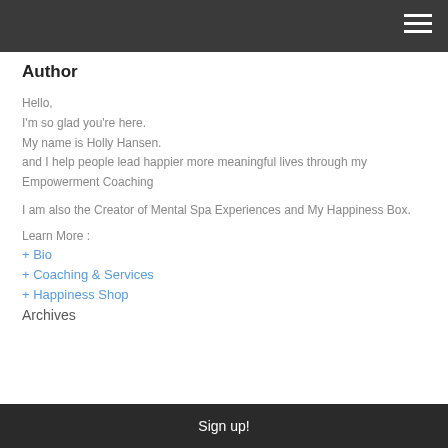Author
Hello,
I'm so glad you're here.
My name is Holly Hansen.
and I help people lead happier more meaningful lives through my Empowerment Coaching
I am also the Creator of Mental Spa Experiences and My Happiness Box.
Learn More :
+ Bio
+ Coaching & Services
+ Happiness Shop
Archives
Sign up!